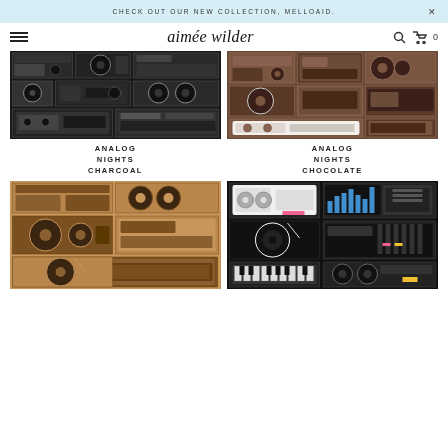CHECK OUT OUR NEW COLLECTION, MELLOAID.
aimée wilder
[Figure (photo): Analog Nights Charcoal fabric pattern — black and white retro music equipment (cassettes, reel-to-reel, speakers, turntables, keyboards)]
ANALOG NIGHTS CHARCOAL
[Figure (photo): Analog Nights Chocolate fabric pattern — brown and white retro music equipment (boomboxes, cassettes, turntables, speakers)]
ANALOG NIGHTS CHOCOLATE
[Figure (photo): Analog Nights tan/copper fabric pattern — dark graphics on tan/orange background showing retro music equipment]
[Figure (photo): Analog Nights colorful fabric pattern — black background with colorful retro music equipment highlights (pink, blue, yellow)]